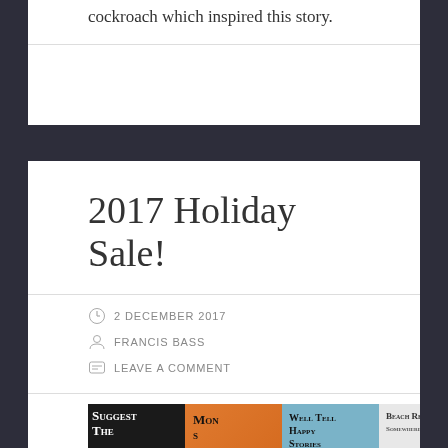cockroach which inspired this story.
2017 Holiday Sale!
2 DECEMBER 2017
FRANCIS BASS
LEAVE A COMMENT
[Figure (photo): Strip of five book covers including 'Suggest The', a mystery book in orange, 'Well Tell Happy Stories' in blue, 'Beach Realty' and 'The Only Stories That Matters']